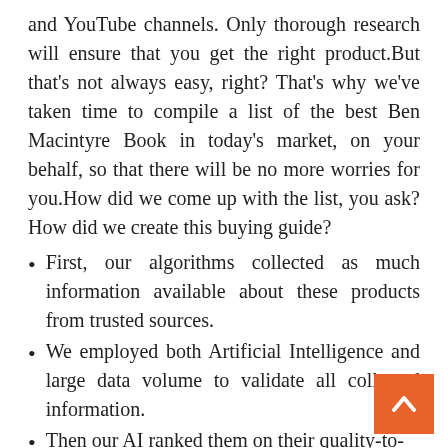and YouTube channels. Only thorough research will ensure that you get the right product.But that's not always easy, right? That's why we've taken time to compile a list of the best Ben Macintyre Book in today's market, on your behalf, so that there will be no more worries for you.How did we come up with the list, you ask? How did we create this buying guide?
First, our algorithms collected as much information available about these products from trusted sources.
We employed both Artificial Intelligence and large data volume to validate all collected information.
Then our AI ranked them on their quality-to-